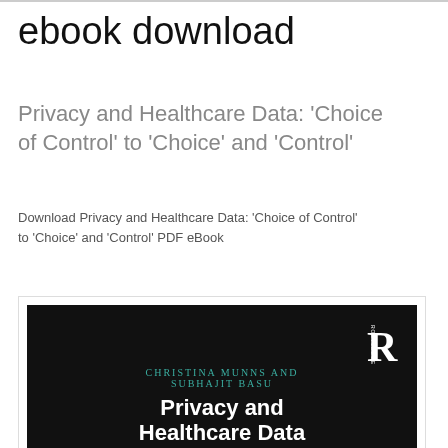ebook download
Privacy and Healthcare Data: 'Choice of Control' to 'Choice' and 'Control'
Download Privacy and Healthcare Data: 'Choice of Control' to 'Choice' and 'Control' PDF eBook
[Figure (illustration): Book cover for 'Privacy and Healthcare Data' by Christina Munns and Subhajit Basu, published by Routledge. Dark/black background with teal author names and white bold title text. Routledge logo visible in upper right.]